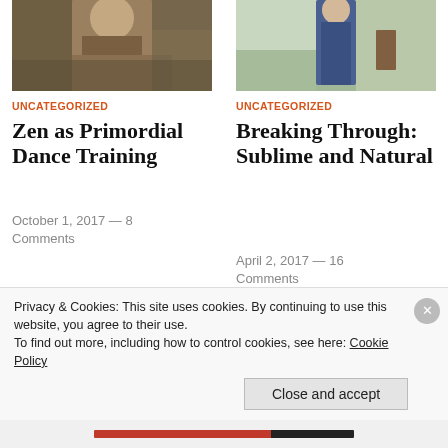[Figure (photo): Photo of a person outdoors, left column top]
[Figure (photo): Photo of a person standing outdoors, right column top]
UNCATEGORIZED
Zen as Primordial Dance Training
October 1, 2017 — 8 Comments
UNCATEGORIZED
Breaking Through: Sublime and Natural
April 2, 2017 — 16 Comments
[Figure (photo): Photo of calligraphy or ink drawing, bottom left]
Privacy & Cookies: This site uses cookies. By continuing to use this website, you agree to their use.
To find out more, including how to control cookies, see here: Cookie Policy
Close and accept